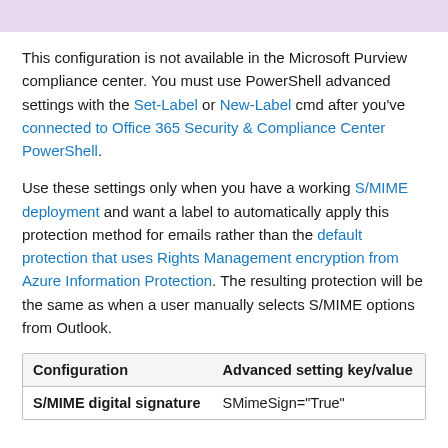This configuration is not available in the Microsoft Purview compliance center. You must use PowerShell advanced settings with the Set-Label or New-Label cmd after you've connected to Office 365 Security & Compliance Center PowerShell.
Use these settings only when you have a working S/MIME deployment and want a label to automatically apply this protection method for emails rather than the default protection that uses Rights Management encryption from Azure Information Protection. The resulting protection will be the same as when a user manually selects S/MIME options from Outlook.
| Configuration | Advanced setting key/value |
| --- | --- |
| S/MIME digital signature | SMimeSign="True" |